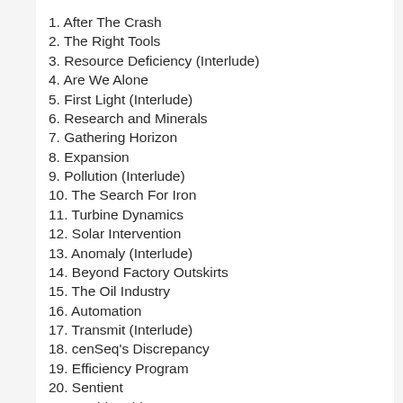1. After The Crash
2. The Right Tools
3. Resource Deficiency (Interlude)
4. Are We Alone
5. First Light (Interlude)
6. Research and Minerals
7. Gathering Horizon
8. Expansion
9. Pollution (Interlude)
10. The Search For Iron
11. Turbine Dynamics
12. Solar Intervention
13. Anomaly (Interlude)
14. Beyond Factory Outskirts
15. The Oil Industry
16. Automation
17. Transmit (Interlude)
18. cenSeq's Discrepancy
19. Efficiency Program
20. Sentient
21. World Ambience 1
22. World Ambience 2